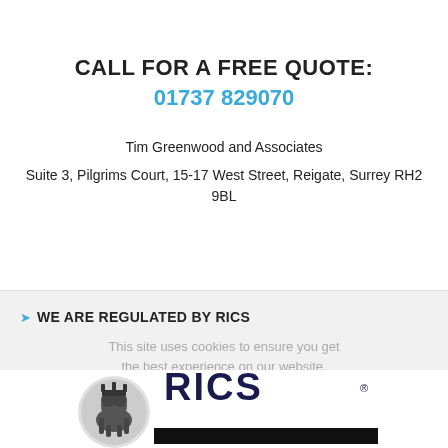CALL FOR A FREE QUOTE: 01737 829070
Tim Greenwood and Associates
Suite 3, Pilgrims Court, 15-17 West Street, Reigate, Surrey RH2 9BL
WE ARE REGULATED BY RICS
This site uses cookies to ensure you get the best experience on our website.
Read about Cookies
Got it!
[Figure (logo): RICS logo with lion emblem and 'RICS' text]